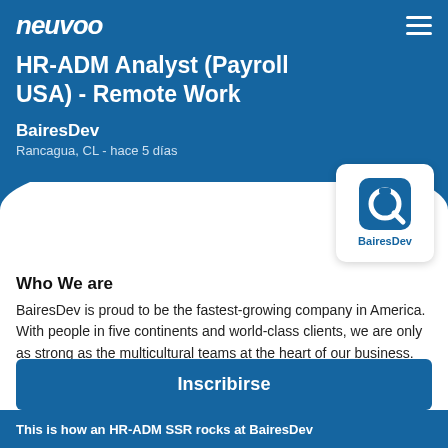neuvoo
HR-ADM Analyst (Payroll USA) - Remote Work
BairesDev
Rancagua, CL - hace 5 días
[Figure (logo): BairesDev company logo: blue rounded square with stylized letter Q icon and BairesDev text below]
Who We are
BairesDev is proud to be the fastest-growing company in America. With people in five continents and world-class clients, we are only as strong as the multicultural teams at the heart of our business.
To consistently deliver the highest quality solutions to our
Inscribirse
This is how an HR-ADM SSR rocks at BairesDev